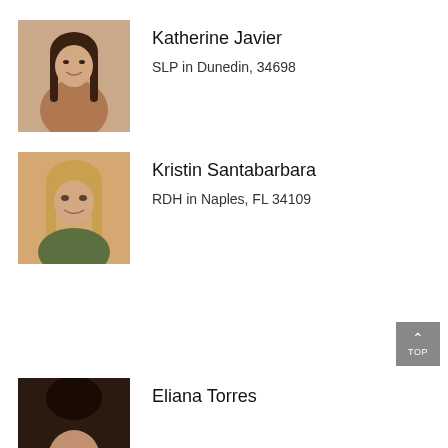[Figure (photo): Headshot photo of Katherine Javier, a young woman with long dark brown hair, smiling]
Katherine Javier
SLP in Dunedin, 34698
[Figure (photo): Headshot photo of Kristin Santabarbara, a woman with blonde/light brown hair, smiling]
Kristin Santabarbara
RDH in Naples, FL 34109
[Figure (photo): Headshot photo of Eliana Torres, partially visible at bottom of page]
Eliana Torres